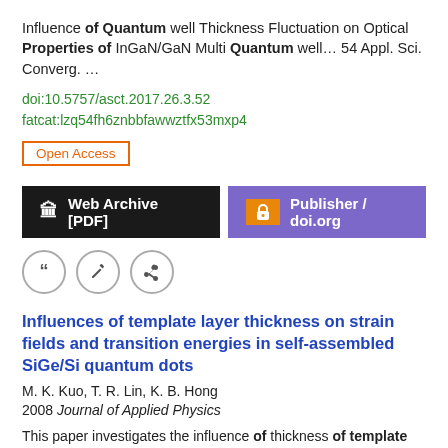Influence of Quantum well Thickness Fluctuation on Optical Properties of InGaN/GaN Multi Quantum well… 54 Appl. Sci. Converg.  …
doi:10.5757/asct.2017.26.3.52
fatcat:lzq54fh6znbbfawwztfx53mxp4
Open Access
[Figure (other): Web Archive [PDF] button (black) and Publisher / doi.org button (purple with orange lock icon)]
[Figure (other): Three circular icon buttons: quote, edit, link]
Influences of template layer thickness on strain fields and transition energies in self-assembled SiGe/Si quantum dots
M. K. Kuo, T. R. Lin, K. B. Hong
2008 Journal of Applied Physics
This paper investigates the influence of thickness of template layer on strain fields and transition energies in lens-shaped self-assembled SiGe/ Si quantum dots.  …  This study analyzes strain fields in and around quantum dots on the basis of the theory of linear elasticity.  … quantum dots' SAQDŠs strongly affect